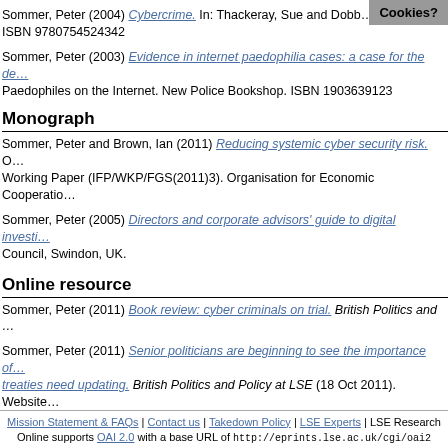Sommer, Peter (2004) Cybercrime. In: Thackeray, Sue and Dobb... ISBN 9780754524342
Sommer, Peter (2003) Evidence in internet paedophilia cases: a case for the de... Paedophiles on the Internet. New Police Bookshop. ISBN 1903639123
Monograph
Sommer, Peter and Brown, Ian (2011) Reducing systemic cyber security risk. O... Working Paper (IFP/WKP/FGS(2011)3). Organisation for Economic Cooperatio...
Sommer, Peter (2005) Directors and corporate advisors' guide to digital investi... Council, Swindon, UK.
Online resource
Sommer, Peter (2011) Book review: cyber criminals on trial. British Politics and ...
Sommer, Peter (2011) Senior politicians are beginning to see the importance of... treaties need updating. British Politics and Policy at LSE (18 Oct 2011). Website...
This
Mission Statement & FAQs | Contact us | Takedown Policy | LSE Experts | LSE Research Online supports OAI 2.0 with a base URL of http://eprints.lse.ac.uk/cgi/oai2